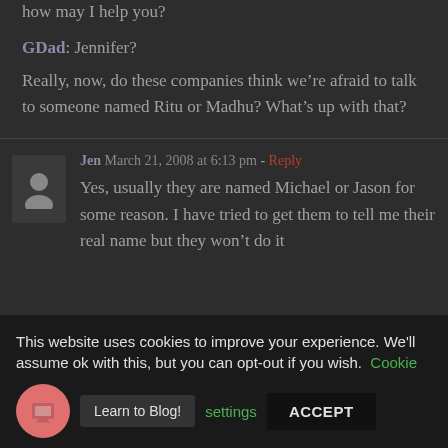how may I help you?
GDad: Jennifer?
Really, now, do these companies think we’re afraid to talk to someone named Ritu or Madhu? What’s up with that?
Jen  March 21, 2008 at 6:13 pm - Reply
Yes, usually they are named Michael or Jason for some reason. I have tried to get them to tell me their real name but they won’t do it
This website uses cookies to improve your experience. We'll assume ok with this, but you can opt-out if you wish.  Cookie settings   ACCEPT